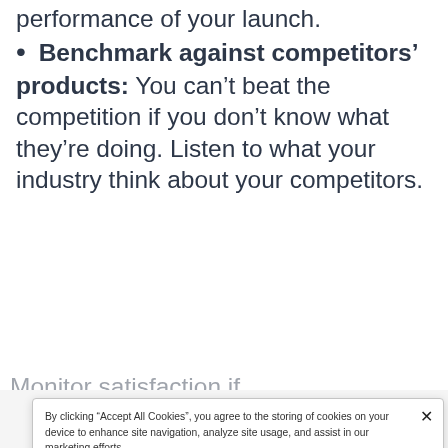performance of your launch.
Benchmark against competitors' products: You can't beat the competition if you don't know what they're doing. Listen to what your industry think about your competitors.
(partially visible cut-off text)
By clicking "Accept All Cookies", you agree to the storing of cookies on your device to enhance site navigation, analyze site usage, and assist in our marketing efforts.
Cookies Settings
Reject All
Accept All Cookies